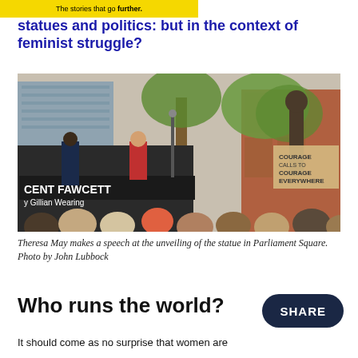The stories that go further.
statues and politics: but in the context of feminist struggle?
[Figure (photo): Theresa May makes a speech at the unveiling of the Millicent Fawcett statue in Parliament Square, by sculptor Gillian Wearing. A crowd is visible in the foreground. The statue shows a figure holding a banner reading 'Courage calls to Courage Everywhere'.]
Theresa May makes a speech at the unveiling of the statue in Parliament Square. Photo by John Lubbock
Who runs the world?
It should come as no surprise that women are